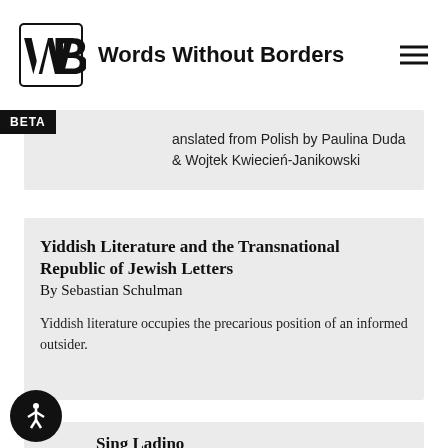Words Without Borders
anslated from Polish by Paulina Duda & Wojtek Kwiecień-Janikowski
Yiddish Literature and the Transnational Republic of Jewish Letters
By Sebastian Schulman
Yiddish literature occupies the precarious position of an informed outsider.
Sing Ladino
By Yankev Glatshteyn
Finegolden radiating, bursting— /